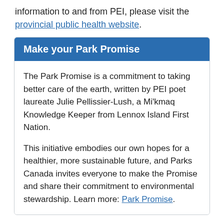information to and from PEI, please visit the provincial public health website.
Make your Park Promise
The Park Promise is a commitment to taking better care of the earth, written by PEI poet laureate Julie Pellissier-Lush, a Mi'kmaq Knowledge Keeper from Lennox Island First Nation.
This initiative embodies our own hopes for a healthier, more sustainable future, and Parks Canada invites everyone to make the Promise and share their commitment to environmental stewardship. Learn more: Park Promise.
Stay connected